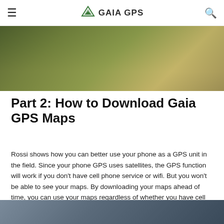≡  GAIA GPS  🔍
[Figure (photo): Outdoor landscape photo showing grass and trees in muted greens and yellows, partially cropped at top of page]
Part 2: How to Download Gaia GPS Maps
Rossi shows how you can better use your phone as a GPS unit in the field. Since your phone GPS uses satellites, the GPS function will work if you don't have cell phone service or wifi. But you won't be able to see your maps. By downloading your maps ahead of time, you can use your maps regardless of whether you have cell service. Plus, you save precious battery life.
[Figure (photo): Partially visible outdoor photo at bottom of page, showing blurred red sign and green foliage]